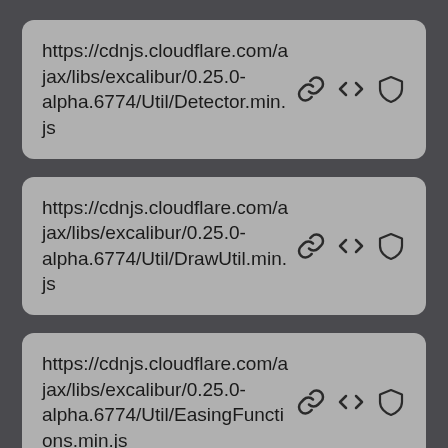https://cdnjs.cloudflare.com/ajax/libs/excalibur/0.25.0-alpha.6774/Util/Detector.min.js
https://cdnjs.cloudflare.com/ajax/libs/excalibur/0.25.0-alpha.6774/Util/DrawUtil.min.js
https://cdnjs.cloudflare.com/ajax/libs/excalibur/0.25.0-alpha.6774/Util/EasingFunctions.min.js
https://cdnjs.cloudflare.com/ajax/libs/excalibur/0.25.0-alpha.6774/Util/Index.min.js